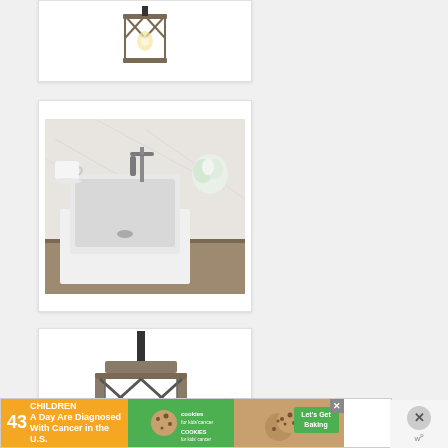[Figure (photo): Rustic wooden lantern pendant light fixture with X-cross wood frame and exposed Edison bulb, shown against white background in product card]
[Figure (photo): White farmhouse apron-front kitchen sink set into marble countertop with a brushed nickel pull-down faucet and white flowers in background]
[Figure (photo): Rustic farmhouse wooden square chandelier / pendant light fixture with dark metal accents, partially visible at bottom of page]
[Figure (infographic): Advertisement banner: orange left panel '43 CHILDREN A Day Are Diagnosed With Cancer in the U.S.', green center with cookies for kids cancer logo, tan/brown right panel with cookies image and 'Let's Get Baking' text in green box, close X button, and W superscript logo on right]